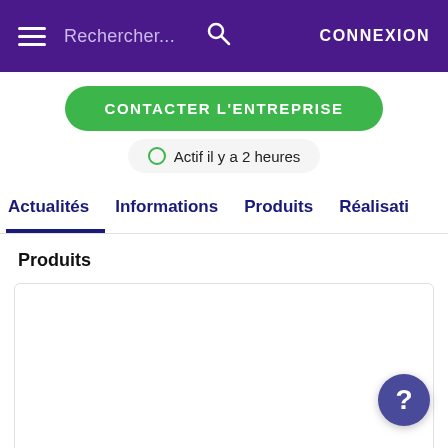Rechercher... [search icon] CONNEXION
[Figure (screenshot): Green rounded button with text CONTACTER L'ENTREPRISE (partially visible)]
Actif il y a 2 heures
Actualités | Informations | Produits | Réalisati
Produits
[Figure (other): Empty product card area]
[Figure (other): Purple circular help button with question mark]